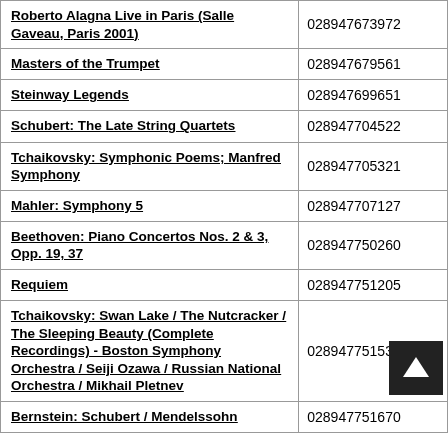| Title | ID |
| --- | --- |
| Roberto Alagna Live in Paris (Salle Gaveau, Paris 2001) | 028947673972 |
| Masters of the Trumpet | 028947679561 |
| Steinway Legends | 028947699651 |
| Schubert: The Late String Quartets | 028947704522 |
| Tchaikovsky: Symphonic Poems; Manfred Symphony | 028947705321 |
| Mahler: Symphony 5 | 028947707127 |
| Beethoven: Piano Concertos Nos. 2 & 3, Opp. 19, 37 | 028947750260 |
| Requiem | 028947751205 |
| Tchaikovsky: Swan Lake / The Nutcracker / The Sleeping Beauty (Complete Recordings) - Boston Symphony Orchestra / Seiji Ozawa / Russian National Orchestra / Mikhail Pletnev | 028947751533 |
| Bernstein: Schubert / Mendelssohn | 028947751670 |